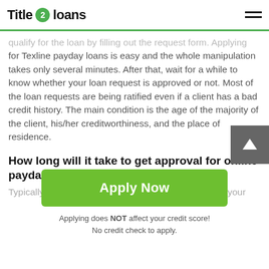Title 2 loans
qualify for the loan by filling out the request form. Applying for Texline payday loans is easy and the whole manipulation takes only several minutes. After that, wait for a while to know whether your loan request is approved or not. Most of the loan requests are being ratified even if a client has a bad credit history. The main condition is the age of the majority of the client, his/her creditworthiness, and the place of residence.
How long will it take to get approval for online payday loans Texline in Texas TX?
Typically, you will need to wait for a few minutes until your
Apply Now
Applying does NOT affect your credit score!
No credit check to apply.